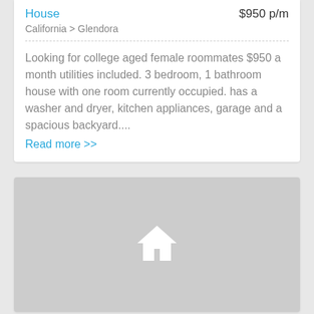House
$950 p/m
California > Glendora
Looking for college aged female roommates $950 a month utilities included. 3 bedroom, 1 bathroom house with one room currently occupied. has a washer and dryer, kitchen appliances, garage and a spacious backyard....
Read more >>
[Figure (illustration): Grey placeholder image with a white house icon in the center]